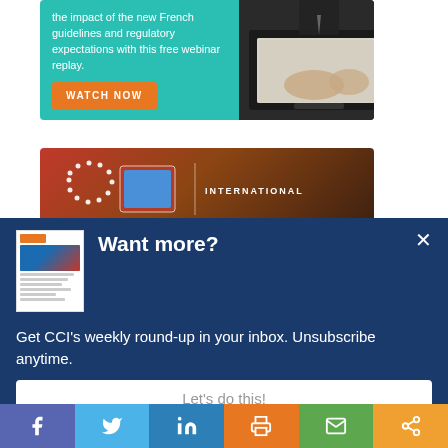[Figure (screenshot): Teal advertisement banner with text about French guidelines and regulatory expectations webinar replay, with WATCH NOW orange button, and image of person typing on laptop]
[Figure (screenshot): Dark red/brown advertisement banner with EU circle of stars logo and INTERNATIONAL text]
[Figure (screenshot): Dark blue modal overlay with CCI newsletter thumbnail, 'Want more?' heading, subscription text, and input field with 'Let's do this!' placeholder]
[Figure (screenshot): Social share bar at bottom with Facebook, Twitter, LinkedIn, Print, Email, and Share buttons]